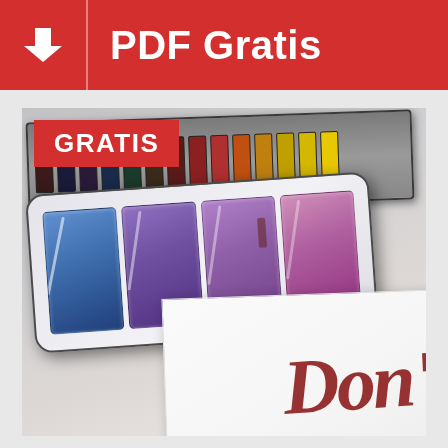PDF Gratis
[Figure (photo): Watercolor paint palette tray with colorful paints (blue, purple, pink) and a paint box with multiple color pans on top, placed on a desk. In the bottom right, a white paper with red calligraphic handwriting 'Don...' is visible.]
GRATIS